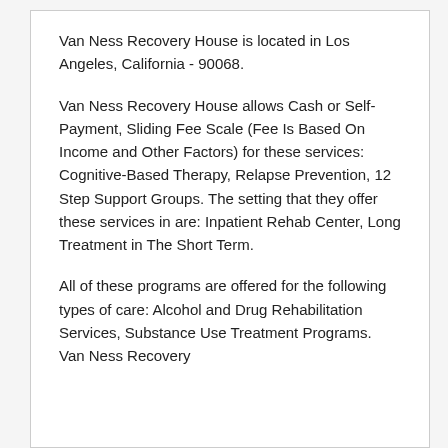Van Ness Recovery House is located in Los Angeles, California - 90068.
Van Ness Recovery House allows Cash or Self-Payment, Sliding Fee Scale (Fee Is Based On Income and Other Factors) for these services: Cognitive-Based Therapy, Relapse Prevention, 12 Step Support Groups. The setting that they offer these services in are: Inpatient Rehab Center, Long Treatment in The Short Term.
All of these programs are offered for the following types of care: Alcohol and Drug Rehabilitation Services, Substance Use Treatment Programs. Van Ness Recovery